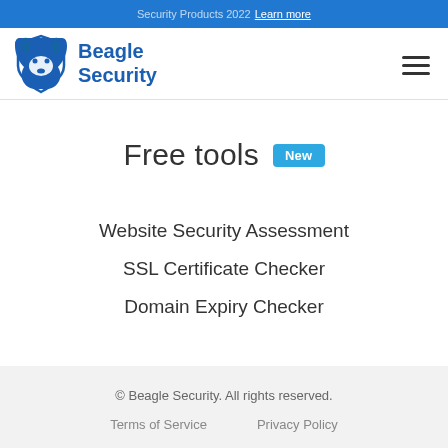Security Products 2022 Learn more
[Figure (logo): Beagle Security logo with dog icon and blue text reading 'Beagle Security']
Free tools New
Website Security Assessment
SSL Certificate Checker
Domain Expiry Checker
© Beagle Security. All rights reserved. Terms of Service Privacy Policy